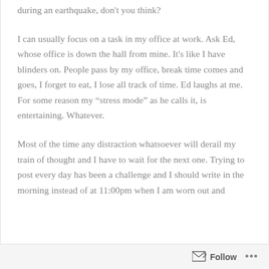during an earthquake, don't you think?
I can usually focus on a task in my office at work. Ask Ed, whose office is down the hall from mine. It's like I have blinders on. People pass by my office, break time comes and goes, I forget to eat, I lose all track of time. Ed laughs at me. For some reason my “stress mode” as he calls it, is entertaining. Whatever.
Most of the time any distraction whatsoever will derail my train of thought and I have to wait for the next one. Trying to post every day has been a challenge and I should write in the morning instead of at 11:00pm when I am worn out and
Follow